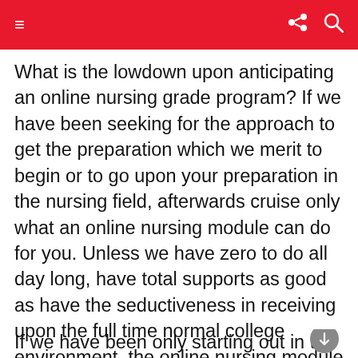Menu | Share | Search
What is the lowdown upon anticipating an online nursing grade program? If we have been seeking for the approach to get the preparation which we merit to begin or to go upon your preparation in the nursing field, afterwards cruise only what an online nursing module can do for you. Unless we have zero to do all day long, have total supports as good as have the seductiveness in receiving upon the full time normal college environment, the online nursing module might only be the right preference for you. Here’s some-more of the lowdown upon anticipating an online nursing grade program.
If we have been only starting out in the margin you